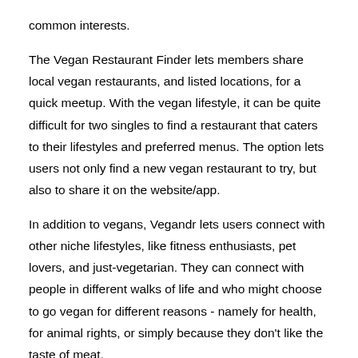common interests.
The Vegan Restaurant Finder lets members share local vegan restaurants, and listed locations, for a quick meetup. With the vegan lifestyle, it can be quite difficult for two singles to find a restaurant that caters to their lifestyles and preferred menus. The option lets users not only find a new vegan restaurant to try, but also to share it on the website/app.
In addition to vegans, Vegandr lets users connect with other niche lifestyles, like fitness enthusiasts, pet lovers, and just-vegetarian. They can connect with people in different walks of life and who might choose to go vegan for different reasons - namely for health, for animal rights, or simply because they don't like the taste of meat.
The app appeals to vegans of all ages and relationship-seekers, whether casual dating, long-term dating, or just a general friend finder. Vegans oftentimes seek out friendships with other vegans and expand their social circle organically.